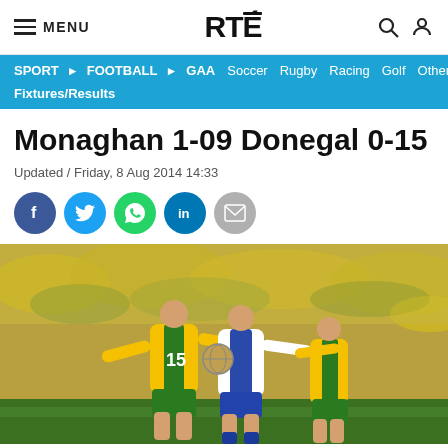MENU | RTÉ
SPORT ▶ FOOTBALL ▶ GAA  Soccer  Rugby  Racing  Golf  Other  Fixtures/Results
Monaghan 1-09 Donegal 0-15
Updated / Friday, 8 Aug 2014 14:33
[Figure (other): Social sharing icons: Facebook, Twitter, WhatsApp, LinkedIn, Email]
[Figure (photo): A GAA football match action photo showing a player in green/yellow Donegal jersey (number 15) and a player in white/blue Monaghan jersey competing for the ball, with a large crowd in the background wearing yellow and green colours.]